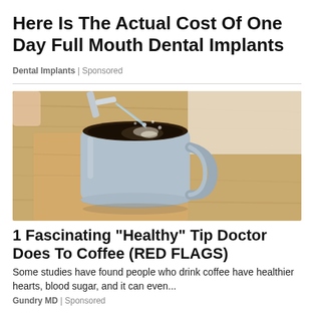Here Is The Actual Cost Of One Day Full Mouth Dental Implants
Dental Implants | Sponsored
[Figure (photo): A gray coffee mug being filled with water from a kitchen faucet, sitting on a wooden surface. The water is splashing into the dark coffee inside the mug.]
1 Fascinating "Healthy" Tip Doctor Does To Coffee (RED FLAGS)
Some studies have found people who drink coffee have healthier hearts, blood sugar, and it can even...
Gundry MD | Sponsored